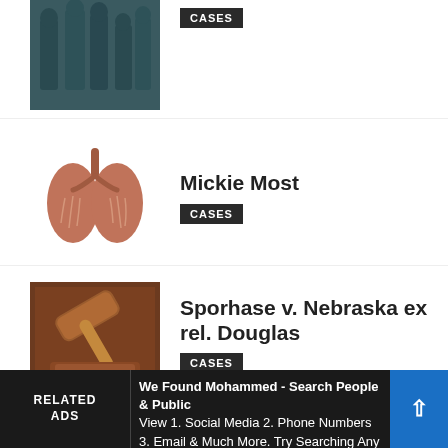[Figure (photo): Soldiers statue/monument photo (military figures), partially cropped at top]
CASES
Mickie Most
[Figure (photo): Medical illustration of human lungs]
CASES
Sporhase v. Nebraska ex rel. Douglas
[Figure (photo): Wooden gavel on a desk, legal/court theme]
CASES
Chisholm v. Georgia
[Figure (photo): Old document with quill pen, historical/legal theme]
CASES
RELATED ADS
We Found Mohammed - Search People & Public View 1. Social Media 2. Phone Numbers 3. Email & Much More. Try Searching Any Name Today! Find